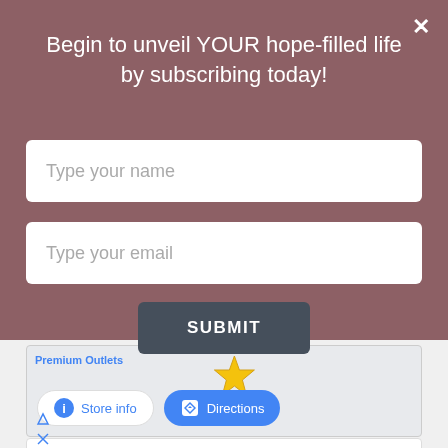Begin to unveil YOUR hope-filled life by subscribing today!
Type your name
Type your email
SUBMIT
[Figure (screenshot): Map section showing Premium Outlets location with a gold star marker]
Store info
Directions
[Figure (infographic): Petco advertisement: Your One-Stop Summer Pet Shop with Petco logo and navigation arrow]
Your One-Stop Summer Pet Shop
Petco